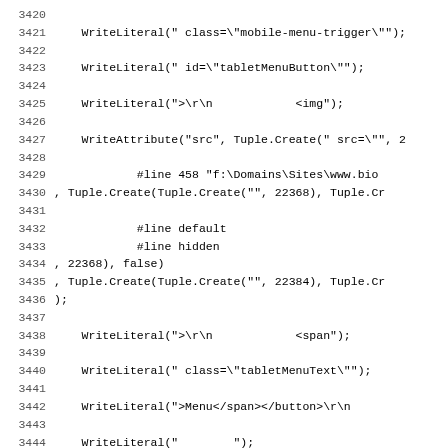Source code listing lines 3420-3449 showing C# code with WriteLiteral, WriteAttribute, and Write method calls including HTML attributes and Tuple.Create expressions with line directives.